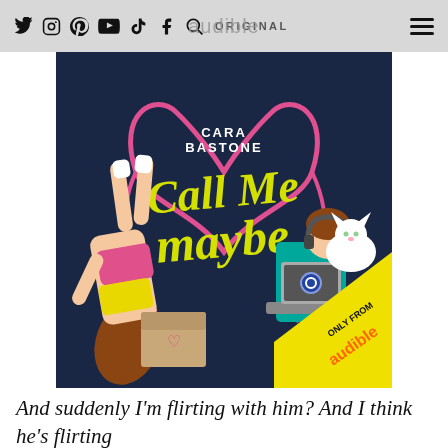audible ORIGINAL
[Figure (illustration): Book cover of 'Call Me Maybe' by Cara Bastone, an Audible Original. Illustrated cover with dark navy background, showing a woman in pink top and yellow shorts lying upside down, a white cat, a person at a teal desk with a laptop, a pink heart made of phone cord, and a yellow 'Only from Audible' banner in the bottom right corner. Yellow script title text reads 'Call Me Maybe'.]
And suddenly I'm flirting with him? And I think he's flirting